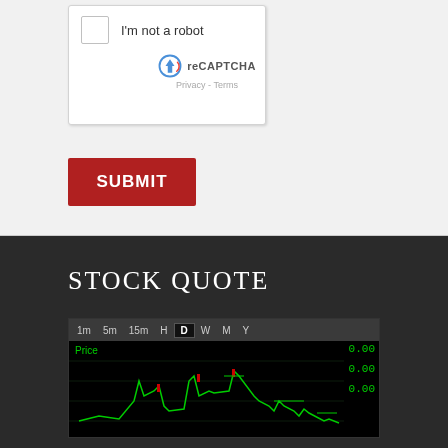[Figure (screenshot): reCAPTCHA widget with checkbox labeled 'I'm not a robot', reCAPTCHA logo, and Privacy/Terms links]
SUBMIT
STOCK QUOTE
[Figure (screenshot): Stock quote widget showing time intervals (1m, 5m, 15m, H, D, W, M, Y) with D selected, and a stock price chart in green on black background. Price label visible with values 0.00 shown on right side.]